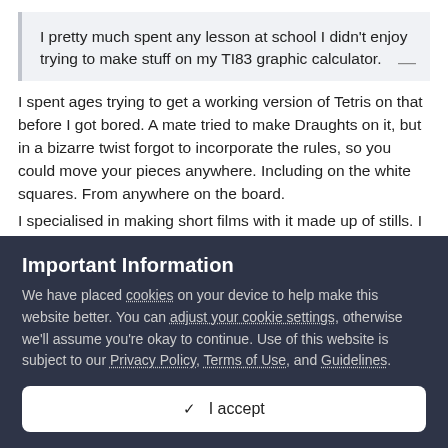I pretty much spent any lesson at school I didn't enjoy trying to make stuff on my TI83 graphic calculator.
I spent ages trying to get a working version of Tetris on that before I got bored. A mate tried to make Draughts on it, but in a bizarre twist forgot to incorporate the rules, so you could move your pieces anywhere. Including on the white squares. From anywhere on the board.
I specialised in making short films with it made up of stills. I recreated Terminator 2, replacing John Connor with a rather
Important Information
We have placed cookies on your device to help make this website better. You can adjust your cookie settings, otherwise we'll assume you're okay to continue. Use of this website is subject to our Privacy Policy, Terms of Use, and Guidelines.
✓  I accept